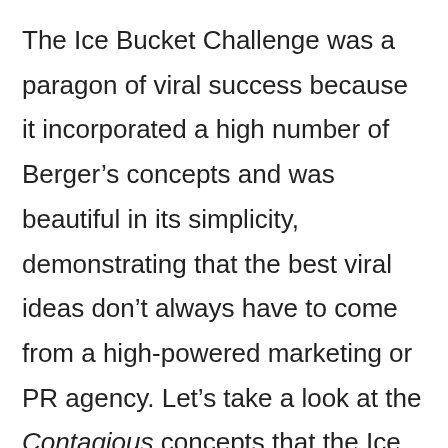The Ice Bucket Challenge was a paragon of viral success because it incorporated a high number of Berger's concepts and was beautiful in its simplicity, demonstrating that the best viral ideas don't always have to come from a high-powered marketing or PR agency. Let's take a look at the Contagious concepts that the Ice Bucket Challenge had going for it. Social currency refers to the idea that people share things that make them look good. People shared the Ice Bucket Challenge video because it was an easy way to show others that they cared about a good cause: raising money to find a cure for ALS. Triggers means